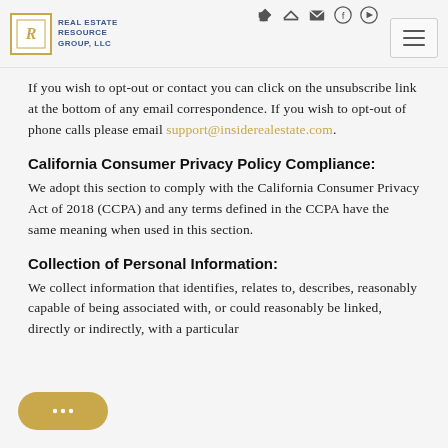Real Estate Resource Group, LLC — navigation header
If you wish to opt-out or contact you can click on the unsubscribe link at the bottom of any email correspondence. If you wish to opt-out of phone calls please email support@insiderealestate.com.
California Consumer Privacy Policy Compliance:
We adopt this section to comply with the California Consumer Privacy Act of 2018 (CCPA) and any terms defined in the CCPA have the same meaning when used in this section.
Collection of Personal Information:
We collect information that identifies, relates to, describes, reasonably capable of being associated with, or could reasonably be linked, directly or indirectly, with a particular